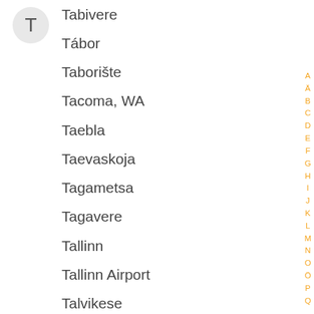T
Tabivere
Tábor
Taborište
Tacoma, WA
Taebla
Taevaskoja
Tagametsa
Tagavere
Tallinn
Tallinn Airport
Talvikese
Tampa, FL
Tänassilma
Tanum
Tanvald